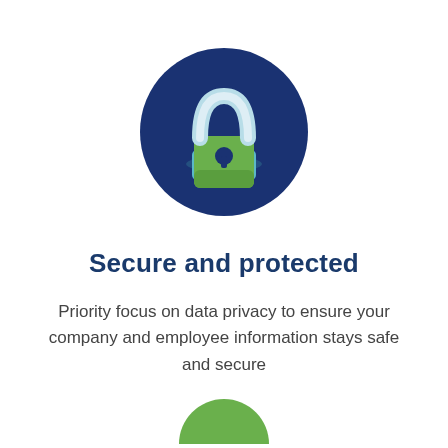[Figure (illustration): A padlock icon on a dark blue circular background. The padlock has a teal/light blue shackle and a green body with a dark blue keyhole in the center.]
Secure and protected
Priority focus on data privacy to ensure your company and employee information stays safe and secure
[Figure (illustration): Partial green circular icon visible at the bottom of the page.]